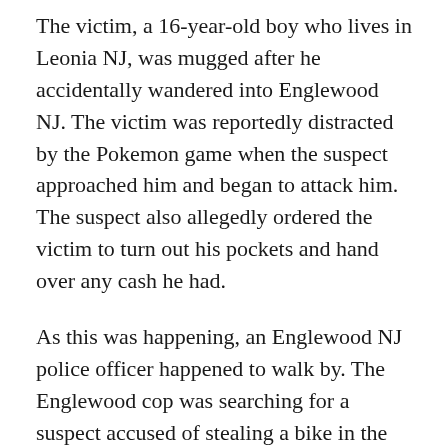The victim, a 16-year-old boy who lives in Leonia NJ, was mugged after he accidentally wandered into Englewood NJ. The victim was reportedly distracted by the Pokemon game when the suspect approached him and began to attack him. The suspect also allegedly ordered the victim to turn out his pockets and hand over any cash he had.
As this was happening, an Englewood NJ police officer happened to walk by. The Englewood cop was searching for a suspect accused of stealing a bike in the area. It is believed that the same suspect may have committed both theft incidents.
The suspect, a 19-year-old man from Fort Lee NJ, was placed under arrest at the scene. He has been charged with multiple criminal offenses, including robbery and resisting arrest. The suspect also got cited for refusal to be